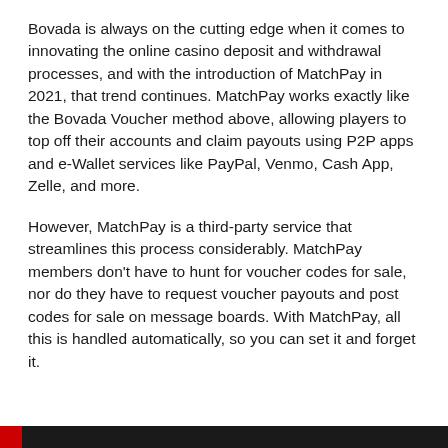Bovada is always on the cutting edge when it comes to innovating the online casino deposit and withdrawal processes, and with the introduction of MatchPay in 2021, that trend continues. MatchPay works exactly like the Bovada Voucher method above, allowing players to top off their accounts and claim payouts using P2P apps and e-Wallet services like PayPal, Venmo, Cash App, Zelle, and more.
However, MatchPay is a third-party service that streamlines this process considerably. MatchPay members don't have to hunt for voucher codes for sale, nor do they have to request voucher payouts and post codes for sale on message boards. With MatchPay, all this is handled automatically, so you can set it and forget it.